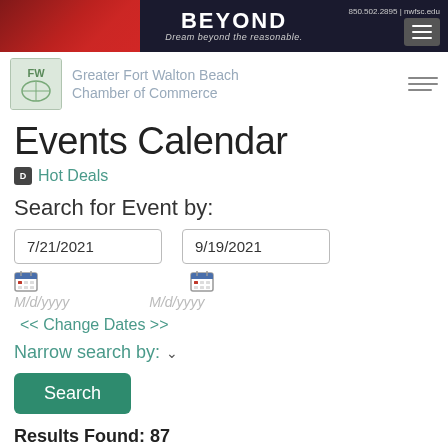[Figure (screenshot): Banner advertisement for Northwest Florida State College with text BEYOND and tagline Dream beyond the reasonable. Contact: 850.502.2895 | nwfsc.edu]
[Figure (logo): Greater Fort Walton Beach Chamber of Commerce logo with navigation menu icon]
Events Calendar
Hot Deals
Search for Event by:
7/21/2021
9/19/2021
M/d/yyyy
M/d/yyyy
<< Change Dates >>
Narrow search by: ∨
Search
Results Found: 87
View Full Calendar